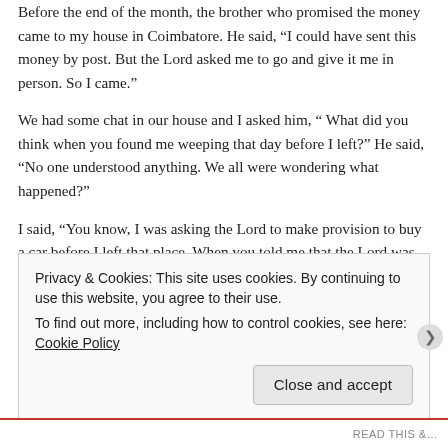Before the end of the month, the brother who promised the money came to my house in Coimbatore. He said, “I could have sent this money by post. But the Lord asked me to go and give it me in person. So I came.”
We had some chat in our house and I asked him, “ What did you think when you found me weeping that day before I left?” He said, “No one understood anything. We all were wondering what happened?”
I said, “You know, I was asking the Lord to make provision to buy a car before I left that place. When you told me that the Lord was asking you to give me money to buy a car, I was like Job…
Privacy & Cookies: This site uses cookies. By continuing to use this website, you agree to their use.
To find out more, including how to control cookies, see here: Cookie Policy
Close and accept